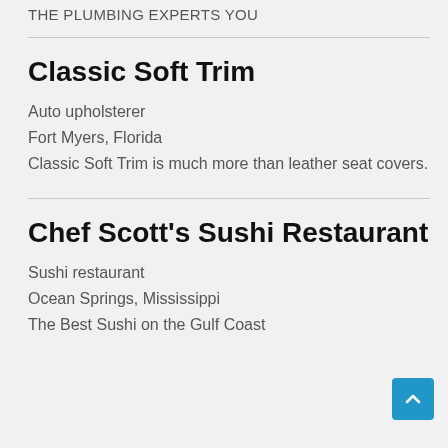THE PLUMBING EXPERTS YOU
Classic Soft Trim
Auto upholsterer
Fort Myers, Florida
Classic Soft Trim is much more than leather seat covers.
Chef Scott's Sushi Restaurant
Sushi restaurant
Ocean Springs, Mississippi
The Best Sushi on the Gulf Coast